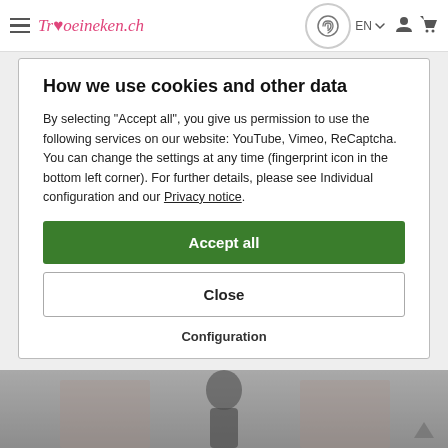Traoeineken.ch — EN — navigation bar
How we use cookies and other data
By selecting "Accept all", you give us permission to use the following services on our website: YouTube, Vimeo, ReCaptcha. You can change the settings at any time (fingerprint icon in the bottom left corner). For further details, please see Individual configuration and our Privacy notice.
Accept all
Close
Configuration
[Figure (photo): Background image of people at a formal/wedding event, partially visible at the bottom of the page]